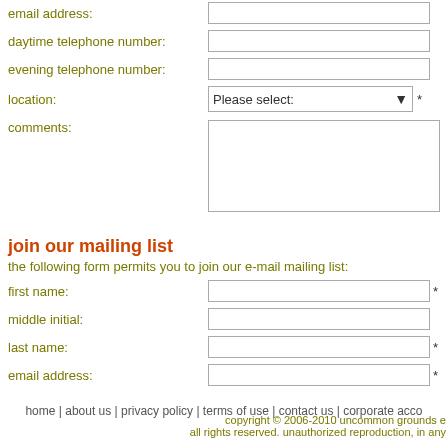email address:
daytime telephone number:
evening telephone number:
location: Please select: *
comments:
join our mailing list
the following form permits you to join our e-mail mailing list:
first name: *
middle initial:
last name: *
email address: *
home | about us | privacy policy | terms of use | contact us | corporate acco
copyright © 2006-2010 uncommon grounds e all rights reserved. unauthorized reproduction, in any